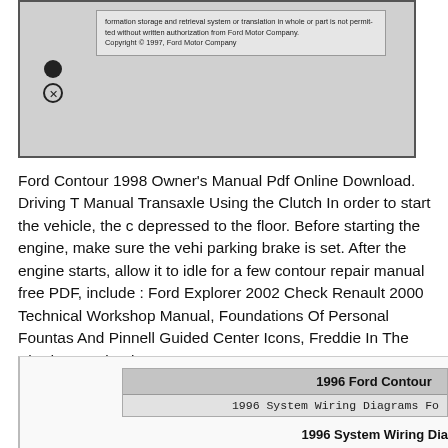[Figure (screenshot): Scanned page from Ford Motor Company document with copyright notice and bullet symbols. Text reads: 'formation storage and retrieval system or translation in whole or part is not permitted without written authorization from Ford Motor Company. Copyright © 1997, Ford Motor Company']
Ford Contour 1998 Owner's Manual Pdf Online Download. Driving T Manual Transaxle Using the Clutch In order to start the vehicle, the c depressed to the floor. Before starting the engine, make sure the vehi parking brake is set. After the engine starts, allow it to idle for a few contour repair manual free PDF, include : Ford Explorer 2002 Check Renault 2000 Technical Workshop Manual, Foundations Of Personal Fountas And Pinnell Guided Center Icons, Freddie In The Shade Ans ebooks..
[Figure (screenshot): Partial screenshot showing a table/listing with header '1996 Ford Contour' and row '1996 System Wiring Diagrams Fo' and a bold title at bottom '1996 System Wiring Dia']